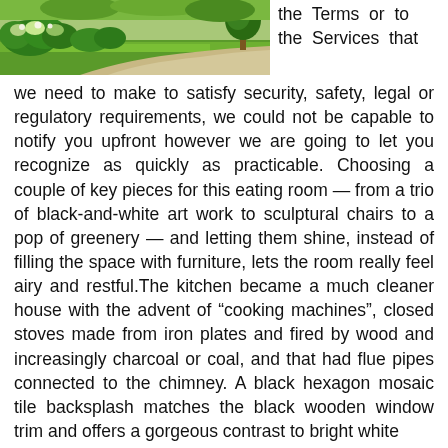[Figure (photo): Outdoor garden/lawn area with green grass, shrubs, and plants near a pathway]
the Terms or to the Services that we need to make to satisfy security, safety, legal or regulatory requirements, we could not be capable to notify you upfront however we are going to let you recognize as quickly as practicable. Choosing a couple of key pieces for this eating room — from a trio of black-and-white art work to sculptural chairs to a pop of greenery — and letting them shine, instead of filling the space with furniture, lets the room really feel airy and restful.The kitchen became a much cleaner house with the advent of “cooking machines”, closed stoves made from iron plates and fired by wood and increasingly charcoal or coal, and that had flue pipes connected to the chimney. A black hexagon mosaic tile backsplash matches the black wooden window trim and offers a gorgeous contrast to bright white